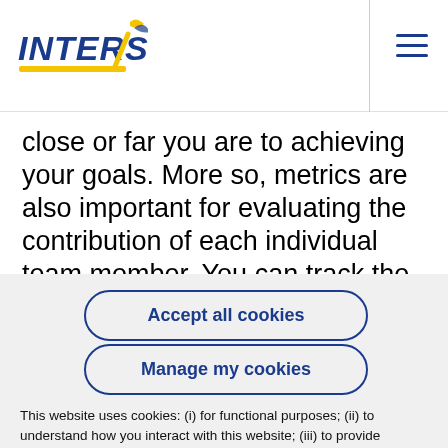INTERSOG
close or far you are to achieving your goals. More so, metrics are also important for evaluating the contribution of each individual team member. You can track the KPIs of your development team by using the following metrics:
Accept all cookies
Manage my cookies
This website uses cookies: (i) for functional purposes; (ii) to understand how you interact with this website; (iii) to provide personalized ads. To learn more, see our Privacy Policy.